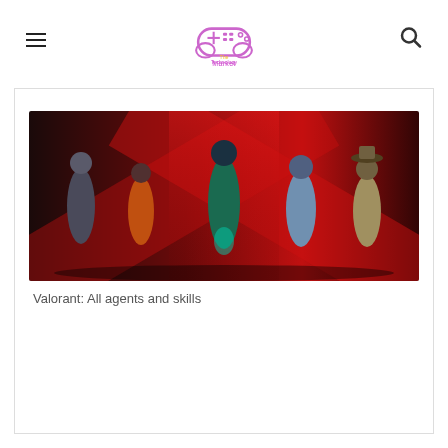The Technology Market
[Figure (screenshot): Valorant game promotional image showing multiple agents/characters posed in front of a red glowing X background]
Valorant: All agents and skills